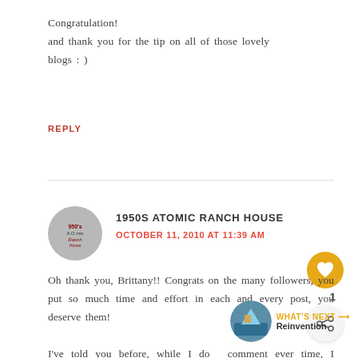Congratulation!
and thank you for the tip on all of those lovely blogs : )
REPLY
1950S ATOMIC RANCH HOUSE
OCTOBER 11, 2010 AT 11:39 AM
Oh thank you, Brittany!! Congrats on the many followers, you put so much time and effort in each and every post, you deserve them!
I've told you before, while I don't comment ever time, I always read your lovely blog and appreciate the artistry of your photos